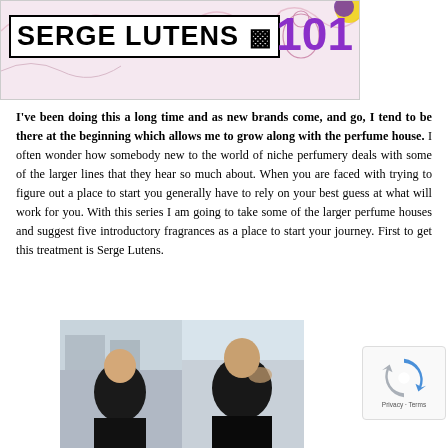[Figure (illustration): Banner header image for 'Serge Lutens 101' article. Features decorative illustration background in pink/purple tones with a white box containing bold black text 'SERGE LUTENS' with a geometric logo mark, and '101' in large purple text to the right.]
I've been doing this a long time and as new brands come, and go, I tend to be there at the beginning which allows me to grow along with the perfume house. I often wonder how somebody new to the world of niche perfumery deals with some of the larger lines that they hear so much about. When you are faced with trying to figure out a place to start you generally have to rely on your best guess at what will work for you. With this series I am going to take some of the larger perfume houses and suggest five introductory fragrances as a place to start your journey. First to get this treatment is Serge Lutens.
[Figure (photo): Two side-by-side photographs of men. Left photo shows a bald man in a dark turtleneck standing outdoors with a tree-lined street in background. Right photo shows another man in a dark jacket looking downward.]
[Figure (other): reCAPTCHA widget showing the circular arrow logo and 'Privacy - Terms' text below.]